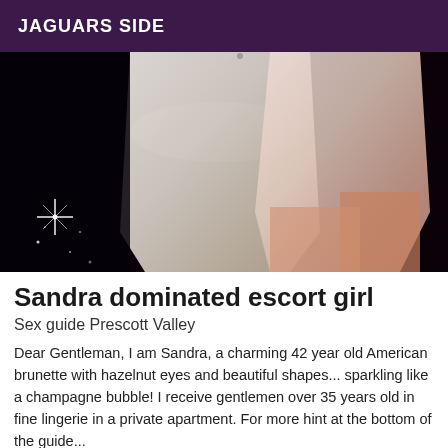JAGUARS SIDE
[Figure (photo): Photo of white lace dress/lingerie against dark background with sparkle light effect on the left side]
Sandra dominated escort girl
Sex guide Prescott Valley
Dear Gentleman, I am Sandra, a charming 42 year old American brunette with hazelnut eyes and beautiful shapes... sparkling like a champagne bubble! I receive gentlemen over 35 years old in fine lingerie in a private apartment. For more hint at the bottom of the guide...